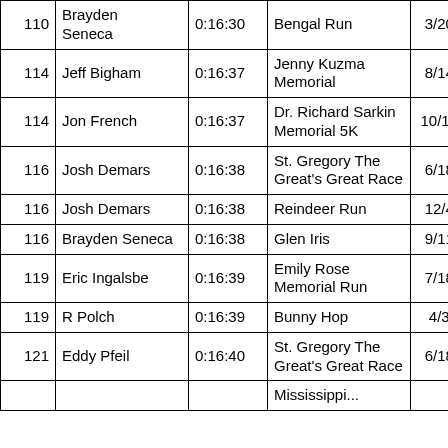| # | Name | Time | Race | Date |  |
| --- | --- | --- | --- | --- | --- |
| 110 | Brayden Seneca | 0:16:30 | Bengal Run | 3/20/2010 | 8 |
| 114 | Jeff Bigham | 0:16:37 | Jenny Kuzma Memorial | 8/14/2010 | 26 |
| 114 | Jon French | 0:16:37 | Dr. Richard Sarkin Memorial 5K | 10/16/2010 | 2 |
| 116 | Josh Demars | 0:16:38 | St. Gregory The Great's Great Race | 6/18/2010 | 8 |
| 116 | Josh Demars | 0:16:38 | Reindeer Run | 12/4/2010 | 1 |
| 116 | Brayden Seneca | 0:16:38 | Glen Iris | 9/11/2010 | 8 |
| 119 | Eric Ingalsbe | 0:16:39 | Emily Rose Memorial Run | 7/18/2010 | 1 |
| 119 | R Polch | 0:16:39 | Bunny Hop | 4/3/2010 | 3 |
| 121 | Eddy Pfeil | 0:16:40 | St. Gregory The Great's Great Race | 6/18/2010 | 9 |
|  |  |  | Mississippi... |  |  |